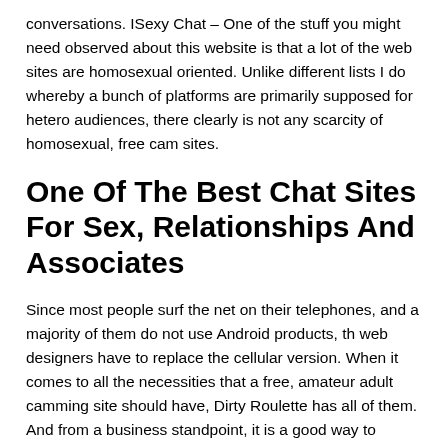conversations. ISexy Chat – One of the stuff you might need observed about this website is that a lot of the web sites are homosexual oriented. Unlike different lists I do whereby a bunch of platforms are primarily supposed for hetero audiences, there clearly is not any scarcity of homosexual, free cam sites.
One Of The Best Chat Sites For Sex, Relationships And Associates
Since most people surf the net on their telephones, and a majority of them do not use Android products, th web designers have to replace the cellular version. When it comes to all the necessities that a free, amateur adult camming site should have, Dirty Roulette has all of them. And from a business standpoint, it is a good way to promote, not solely give your customers the chance to